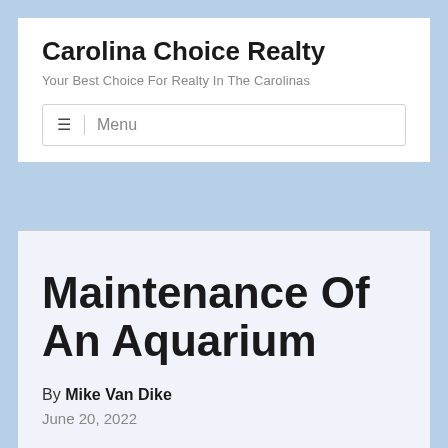Carolina Choice Realty
Your Best Choice For Realty In The Carolinas
≡  Menu
Maintenance Of An Aquarium
By Mike Van Dike
June 20, 2022